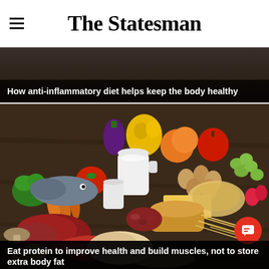The Statesman
[Figure (photo): Article card with dark background showing partial top of an image with headline overlay: 'How anti-inflammatory diet helps keep the body healthy']
How anti-inflammatory diet helps keep the body healthy
[Figure (photo): Large food photography image showing an assortment of foods including vegetables (broccoli, carrots, tomatoes, bell peppers, eggplant), dairy (milk pitcher, small jar of milk), eggs, fruits (grapes, apples, strawberries, oranges), meat (beef steak, sausages, chicken breast), fish, bread, pasta, beans, and mushrooms arranged on a dark wooden table.]
Eat protein to improve health and build muscles, not to store extra body fat